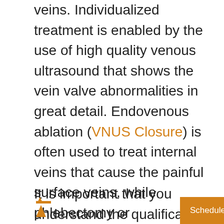veins. Individualized treatment is enabled by the use of high quality venous ultrasound that shows the vein valve abnormalities in great detail. Endovenous ablation (VNUS Closure) is often used to treat internal veins that cause the painful surface veins, while phlebectomy or sclerotherapy eliminates the visible varicose veins.
It is important that you understand the qualifications and experience of the physician you select to treat your veins. Vascular surgeons have extensive training in both arteries and veins and have the judgement to provide you with the best options fo
[Figure (other): Back to top arrow icon - orange upward arrow with a horizontal bar above it]
Schedule an Appointment